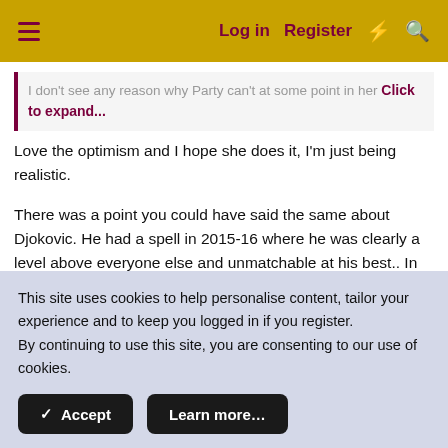Log in  Register
I don't see any reason why Party can't at some point in her — Click to expand...
Love the optimism and I hope she does it, I'm just being realistic.
There was a point you could have said the same about Djokovic. He had a spell in 2015-16 where he was clearly a level above everyone else and unmatchable at his best.. In that two year period he held every grand slam
This site uses cookies to help personalise content, tailor your experience and to keep you logged in if you register.
By continuing to use this site, you are consenting to our use of cookies.